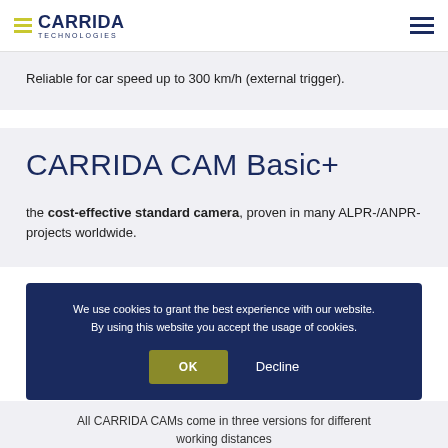CARRIDA TECHNOLOGIES
Reliable for car speed up to 300 km/h (external trigger).
CARRIDA CAM Basic+
the cost-effective standard camera, proven in many ALPR-/ANPR-projects worldwide.
We use cookies to grant the best experience with our website. By using this website you accept the usage of cookies.
All CARRIDA CAMs come in three versions for different working distances